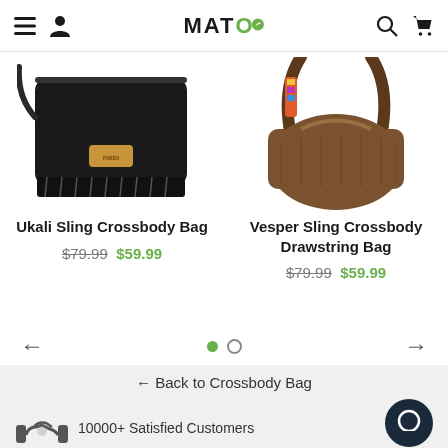MATO — navigation header with menu, account, search, and cart icons
[Figure (photo): Ukali Sling Crossbody Bag — black fabric sling bag with tan leather label patch, top-left product image cropped]
Ukali Sling Crossbody Bag
$79.99 $59.99
[Figure (photo): Vesper Sling Crossbody Drawstring Bag — brown suede bag with colorful woven strap, top-right product image cropped]
Vesper Sling Crossbody Drawstring Bag
$79.99 $59.99
← Back to Crossbody Bag
10000+ Satisfied Customers